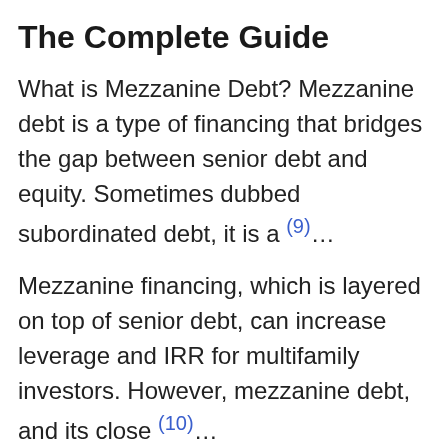The Complete Guide
What is Mezzanine Debt? Mezzanine debt is a type of financing that bridges the gap between senior debt and equity. Sometimes dubbed subordinated debt, it is a (9)...
Mezzanine financing, which is layered on top of senior debt, can increase leverage and IRR for multifamily investors. However, mezzanine debt, and its close (10)...
How Does a Mezzanine Loan work?